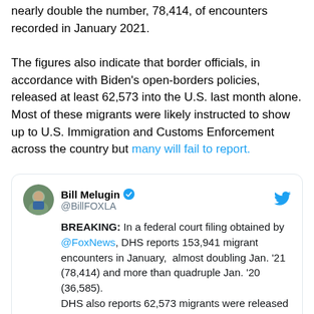nearly double the number, 78,414, of encounters recorded in January 2021.
The figures also indicate that border officials, in accordance with Biden's open-borders policies, released at least 62,573 into the U.S. last month alone. Most of these migrants were likely instructed to show up to U.S. Immigration and Customs Enforcement across the country but many will fail to report.
[Figure (screenshot): Tweet from Bill Melugin (@BillFOXLA) with verified badge: 'BREAKING: In a federal court filing obtained by @FoxNews, DHS reports 153,941 migrant encounters in January, almost doubling Jan. '21 (78,414) and more than quadruple Jan. '20 (36,585). DHS also reports 62,573 migrants were released into U.S. just last month alone. @FoxNews']